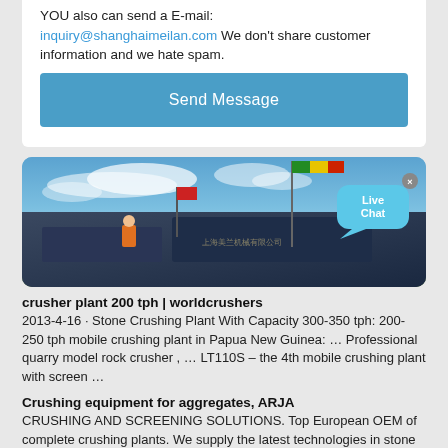YOU also can send a E-mail: inquiry@shanghaimeilan.com We don't share customer information and we hate spam.
Send Message
[Figure (photo): Photo of a mobile crushing plant/machine with flags on top against a blue cloudy sky, with a Live Chat bubble overlay in the upper right corner.]
crusher plant 200 tph | worldcrushers
2013-4-16 · Stone Crushing Plant With Capacity 300-350 tph: 200-250 tph mobile crushing plant in Papua New Guinea: … Professional quarry model rock crusher , … LT110S – the 4th mobile crushing plant with screen …
Crushing equipment for aggregates, ARJA
CRUSHING AND SCREENING SOLUTIONS. Top European OEM of complete crushing plants. We supply the latest technologies in stone crushers, jaw crushers, screens, conveyor belts and washing plants, either in static, modular or mobile format. Suitable for